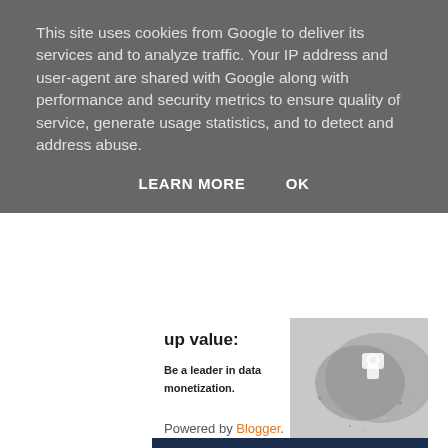This site uses cookies from Google to deliver its services and to analyze traffic. Your IP address and user-agent are shared with Google along with performance and security metrics to ensure quality of service, generate usage statistics, and to detect and address abuse.
LEARN MORE   OK
[Figure (screenshot): Leapyear advertisement banner showing 'up value:' heading, 'Be a leader in data monetization.' text, crowd image, and 'GET THE HANDBOOK' button on dark navy footer bar with LEAPYEAR logo.]
About Me
Holly Button
View my complete profile
Powered by Blogger.